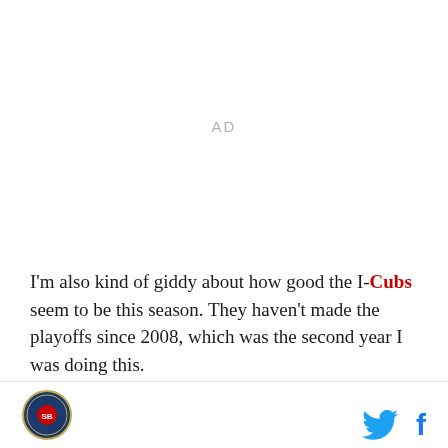AD
I'm also kind of giddy about how good the I-Cubs seem to be this season. They haven't made the playoffs since 2008, which was the second year I was doing this.
[Figure (logo): Circular sports team logo in bottom left footer]
[Figure (other): Twitter bird icon and Facebook 'f' icon in bottom right footer]